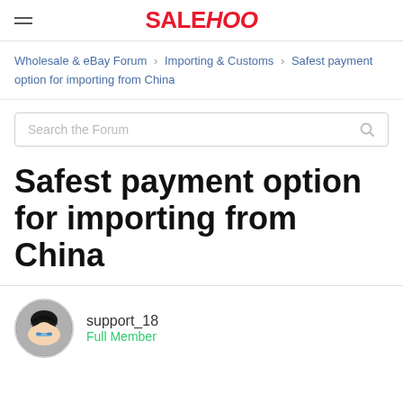SALEHOO
Wholesale & eBay Forum › Importing & Customs › Safest payment option for importing from China
Search the Forum
Safest payment option for importing from China
support_18 Full Member